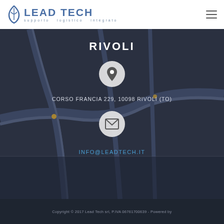LEAD TECH supporto logistico integrato
RIVOLI
[Figure (illustration): Location pin icon inside a light gray circle]
CORSO FRANCIA 229, 10098 RIVOLI (TO)
[Figure (illustration): Envelope/email icon inside a light gray circle]
INFO@LEADTECH.IT
Copyright © 2017 Lead Tech srl, P.IVA 06761700639 - Powered by